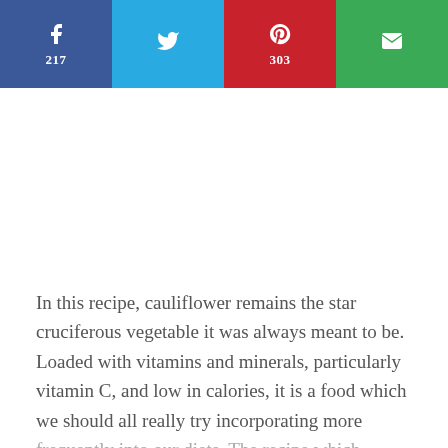[Figure (other): Social share bar with four buttons: Facebook (217), Twitter, Pinterest (303), Email]
In this recipe, cauliflower remains the star cruciferous vegetable it was always meant to be. Loaded with vitamins and minerals, particularly vitamin C, and low in calories, it is a food which we should all really try incorporating more frequently into our diets. The recipe which follows is our parents preferred way of serving